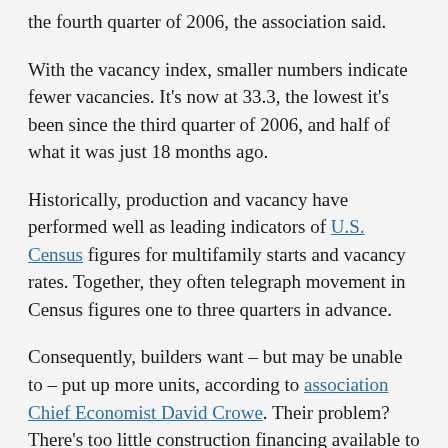the fourth quarter of 2006, the association said.
With the vacancy index, smaller numbers indicate fewer vacancies. It's now at 33.3, the lowest it's been since the third quarter of 2006, and half of what it was just 18 months ago.
Historically, production and vacancy have performed well as leading indicators of U.S. Census figures for multifamily starts and vacancy rates. Together, they often telegraph movement in Census figures one to three quarters in advance.
Consequently, builders want – but may be unable to – put up more units, according to association Chief Economist David Crowe. Their problem? There's too little construction financing available to let them meet market demand. That